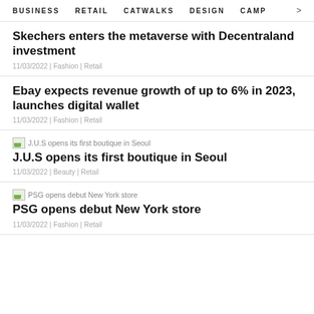BUSINESS   RETAIL   CATWALKS   DESIGN   CAMP >
Skechers enters the metaverse with Decentraland investment
11/03/2022 | Fashion | Retail
Ebay expects revenue growth of up to 6% in 2023, launches digital wallet
11/03/2022 | Fashion | Retail
[Figure (photo): Thumbnail image for J.U.S opens its first boutique in Seoul]
J.U.S opens its first boutique in Seoul
11/03/2022 | Beauty | Retail
[Figure (photo): Thumbnail image for PSG opens debut New York store]
PSG opens debut New York store
11/03/2022 | Fashion | Retail